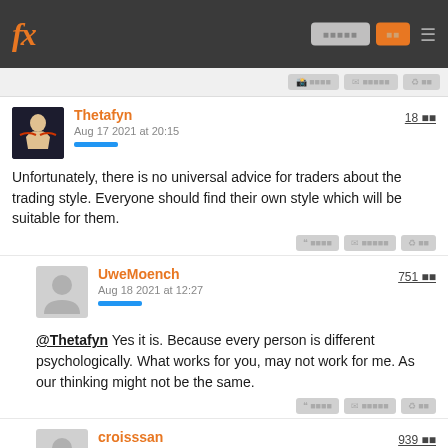fx [nav buttons]
Thetafyn | Aug 17 2021 at 20:15 | 18 [count]
Unfortunately, there is no universal advice for traders about the trading style. Everyone should find their own style which will be suitable for them.
UweMoench | Aug 18 2021 at 12:27 | 751 [count]
@Thetafyn Yes it is. Because every person is different psychologically. What works for you, may not work for me. As our thinking might not be the same.
croisssan | Aug 18 2021 at 13:30 | 939 [count]